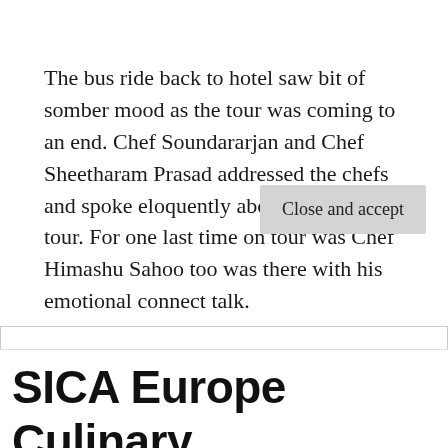The bus ride back to hotel saw bit of somber mood as the tour was coming to an end. Chef Soundararjan and Chef Sheetharam Prasad addressed the chefs and spoke eloquently about the entire tour. For one last time on tour was Chef Himashu Sahoo too was there with his emotional connect talk.
Privacy & Cookies: This site uses cookies. By continuing to use this website, you agree to their use.
To find out more, including how to control cookies, see here:
Cookie Policy
SICA Europe Culinary